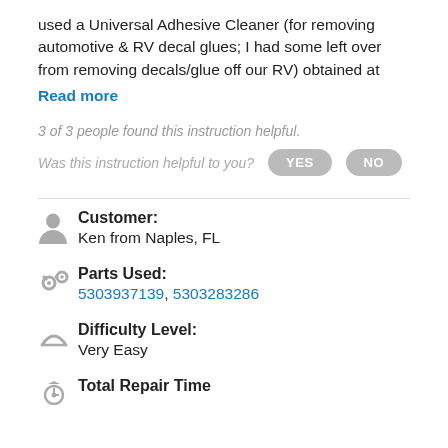used a Universal Adhesive Cleaner (for removing automotive & RV decal glues; I had some left over from removing decals/glue off our RV) obtained at
Read more
3 of 3 people found this instruction helpful.
Was this instruction helpful to you?  YES  NO
Customer: Ken from Naples, FL
Parts Used: 5303937139, 5303283286
Difficulty Level: Very Easy
Total Repair Time: